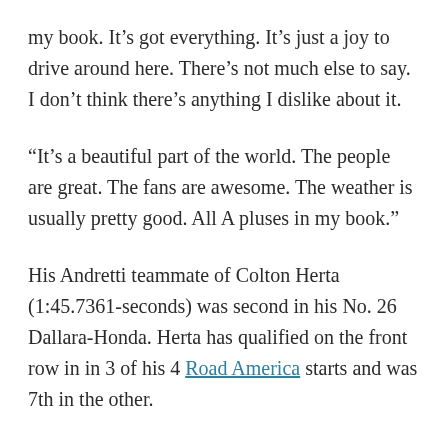my book. It's got everything. It's just a joy to drive around here. There's not much else to say. I don't think there's anything I dislike about it.
“It’s a beautiful part of the world. The people are great. The fans are awesome. The weather is usually pretty good. All A pluses in my book.”
His Andretti teammate of Colton Herta (1:45.7361-seconds) was second in his No. 26 Dallara-Honda. Herta has qualified on the front row in in 3 of his 4 Road America starts and was 7th in the other.